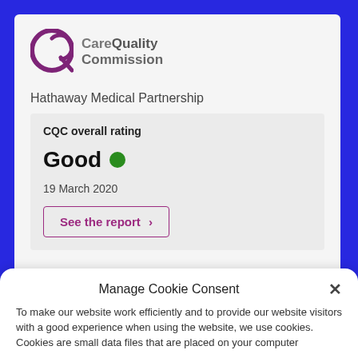[Figure (logo): Care Quality Commission logo with purple circular Q icon and grey text]
Hathaway Medical Partnership
CQC overall rating
Good ● (green dot indicator)
19 March 2020
See the report >
Manage Cookie Consent
To make our website work efficiently and to provide our website visitors with a good experience when using the website, we use cookies. Cookies are small data files that are placed on your computer